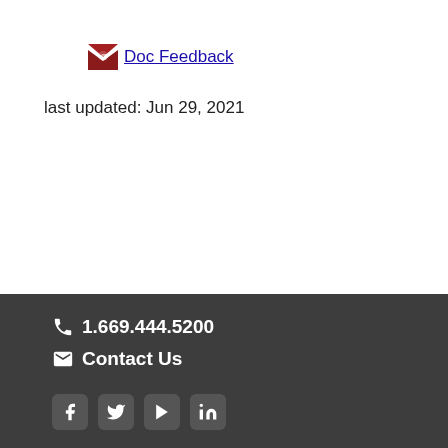Doc Feedback
last updated: Jun 29, 2021
1.669.444.5200 | Contact Us | Facebook | Twitter | YouTube | LinkedIn